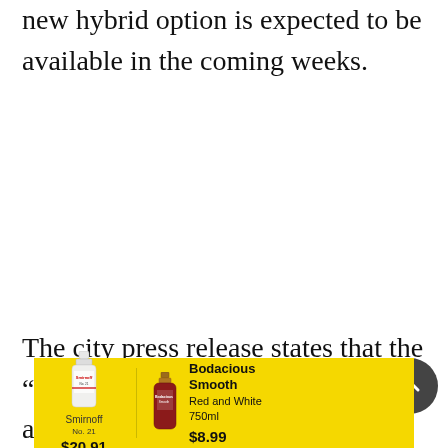new hybrid option is expected to be available in the coming weeks.
The city press release states that the “intent of this option is to preserve agricultural land and minimize impacts on
[Figure (other): Advertisement banner with yellow background showing Smirnoff vodka at $20.91 and Bodacious Smooth Red and White 750ml at $8.99]